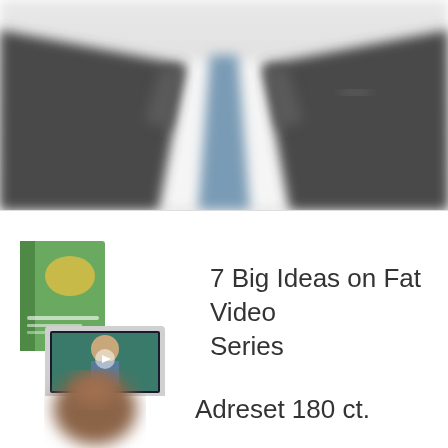[Figure (photo): Blurred photo of a person wearing a dark suit jacket and light blue tie, torso/chest view only, no face visible]
[Figure (photo): Product image showing a book and laptop screen with video series content for '7 Big Ideas on Fat Video Series']
7 Big Ideas on Fat Video Series
[Figure (photo): Partially visible product image for Adreset 180 ct.]
Adreset 180 ct.